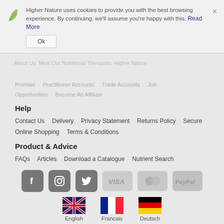Higher Nature uses cookies to provide you with the best browsing experience. By continuing, we'll assume you're happy with this. Read More
Ok
Promise   Practitioner Accounts   Trade Accounts   Job Opportunities   Become An Affiliate
Help
Contact Us   Delivery   Privacy Statement   Returns Policy   Secure Online Shopping   Terms & Conditions
Product & Advice
FAQs   Articles   Download a Catalogue   Nutrient Search
[Figure (infographic): Social media icons (Facebook, Instagram, Twitter) and payment icons (Visa, Mastercard, PayPal) in a horizontal row]
[Figure (infographic): Three language selector flags: UK flag (English), French flag (Francais), German flag (Deutsch)]